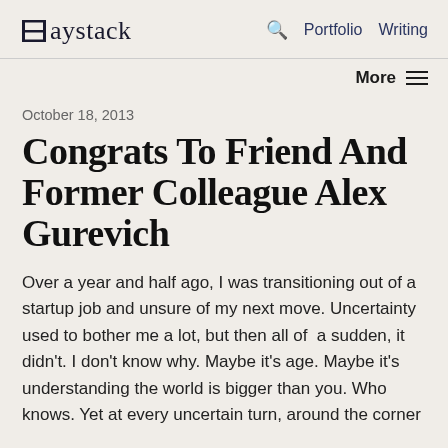Haystack  🔍  Portfolio  Writing
More ≡
October 18, 2013
Congrats To Friend And Former Colleague Alex Gurevich
Over a year and half ago, I was transitioning out of a startup job and unsure of my next move. Uncertainty used to bother me a lot, but then all of  a sudden, it didn't. I don't know why. Maybe it's age. Maybe it's understanding the world is bigger than you. Who knows. Yet at every uncertain turn, around the corner